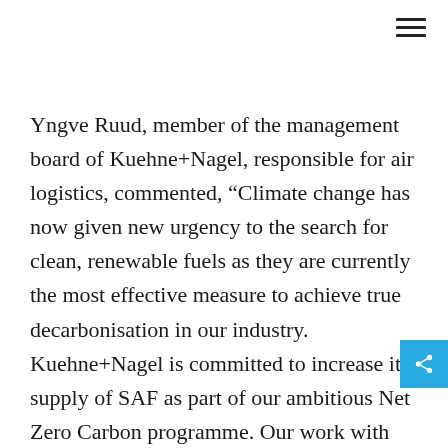Yngve Ruud, member of the management board of Kuehne+Nagel, responsible for air logistics, commented, “Climate change has now given new urgency to the search for clean, renewable fuels as they are currently the most effective measure to achieve true decarbonisation in our industry. Kuehne+Nagel is committed to increase its supply of SAF as part of our ambitious Net Zero Carbon programme. Our work with our suppliers is critical here, with trusted partners like IAG Cargo playing a vital ro… in the attainment of our goals by fostering deployment of sustainable fuels so our like-minded customers can ship their products CO2 neutral in an easy and transparent way.”